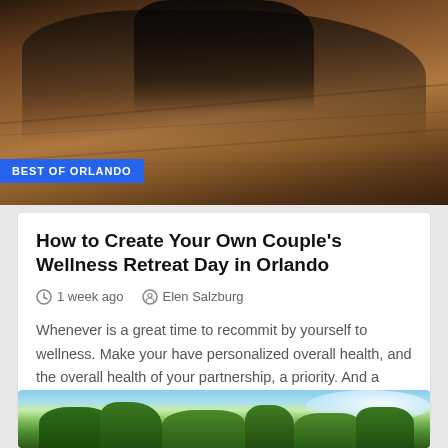[Figure (photo): Two people doing yoga/stretching poses on a wooden floor, with tattoos visible. A blue badge reading 'BEST OF ORLANDO' overlays the bottom-left of the image.]
How to Create Your Own Couple's Wellness Retreat Day in Orlando
1 week ago  Elen Salzburg
Whenever is a great time to recommit by yourself to wellness. Make your have personalized overall health, and the overall health of your partnership, a priority. And a enjoyable way…
[Figure (photo): Outdoor park scene with lush green trees, a clear blue sky with white clouds, and people visible in the distance.]